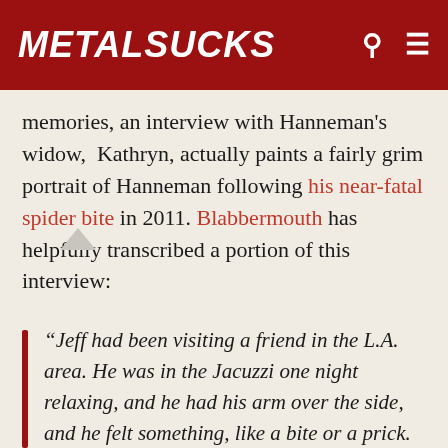METALSUCKS
memories, an interview with Hanneman's widow,  Kathryn, actually paints a fairly grim portrait of Hanneman following his near-fatal spider bite in 2011. Blabbermouth has helpfully transcribed a portion of this interview:
“Jeff had been visiting a friend in the L.A. area. He was in the Jacuzzi one night relaxing, and he had his arm over the side, and he felt something, like a bite or a prick. But of course he didn’t think anything of it. He came home about a week later, and he was pretty well lit when he came through the front door. He